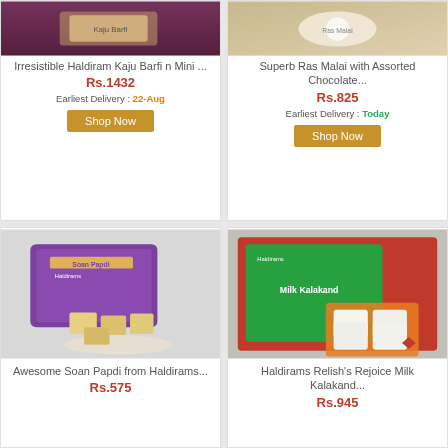[Figure (photo): Haldiram Kaju Barfi Mini product image]
Irresistible Haldiram Kaju Barfi n Mini ...
Rs.1432
Earliest Delivery : 22-Aug
Shop Now
[Figure (photo): Ras Malai with Assorted Chocolate product image]
Superb Ras Malai with Assorted Chocolate...
Rs.825
Earliest Delivery : Today
Shop Now
[Figure (photo): Soan Papdi from Haldirams product image, purple packaging]
Awesome Soan Papdi from Haldirams...
Rs.575
[Figure (photo): Haldirams Milk Kalakand product in green box]
Haldirams Relish's Rejoice Milk Kalakand...
Rs.945